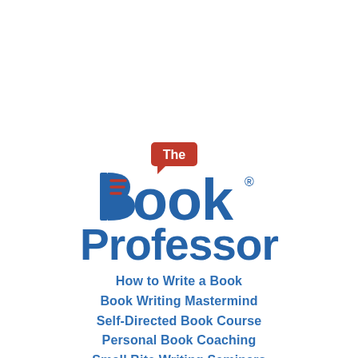[Figure (logo): The Book Professor logo — blue bold text 'Book Professor' with a speech bubble containing 'The' in red/maroon background above the B, and the letter B styled as an open book with red horizontal lines inside it. Registered trademark symbol after 'Book'.]
How to Write a Book
Book Writing Mastermind
Self-Directed Book Course
Personal Book Coaching
Small Bite Writing Seminars